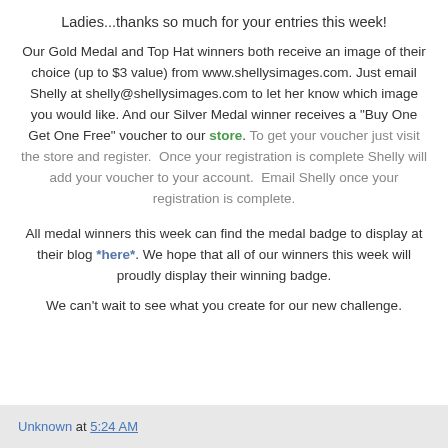Ladies...thanks so much for your entries this week!
Our Gold Medal and Top Hat winners both receive an image of their choice (up to $3 value) from www.shellysimages.com. Just email Shelly at shelly@shellysimages.com to let her know which image you would like. And our Silver Medal winner receives a "Buy One Get One Free" voucher to our store. To get your voucher just visit the store and register.  Once your registration is complete Shelly will add your voucher to your account.  Email Shelly once your registration is complete.
All medal winners this week can find the medal badge to display at their blog *here*. We hope that all of our winners this week will proudly display their winning badge.
We can't wait to see what you create for our new challenge.
Unknown at 5:24 AM